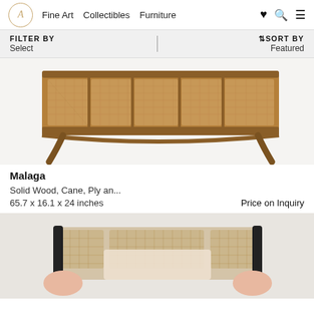A Fine Art  Collectibles  Furniture
FILTER BY Select | SORT BY Featured
[Figure (photo): Mid-century modern wooden sideboard with cane-front panels and tapered splayed legs photographed against white background]
Malaga
Solid Wood, Cane, Ply an...
65.7 x 16.1 x 24 inches      Price on Inquiry
[Figure (photo): Dark-framed sofa with cane sides and light cushions, photographed from above showing two people's hands at armrests]